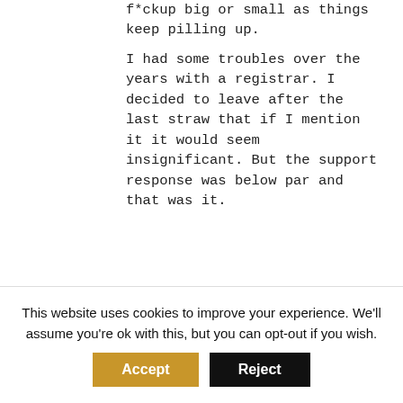f*ckup big or small as things keep pilling up.
I had some troubles over the years with a registrar. I decided to leave after the last straw that if I mention it it would seem insignificant. But the support response was below par and that was it.
[Figure (photo): Black and white headshot photo of Joseph Peterson, a man with dark hair.]
Joseph Peterson
June 8, 2017 at 3:52 am
@Konstantinos,
Why am I writing about the clawback? Look up! This is your article about the clawback. That's why.
This website uses cookies to improve your experience. We'll assume you're ok with this, but you can opt-out if you wish.